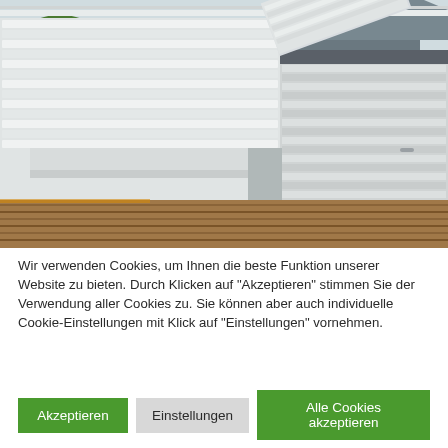[Figure (photo): Outdoor balcony or rooftop terrace with modern white aluminum slatted storage furniture and bench seating. Buildings with angled metal roofs visible in the background with green trees. Wooden decking floor visible at bottom.]
Wir verwenden Cookies, um Ihnen die beste Funktion unserer Website zu bieten. Durch Klicken auf "Akzeptieren" stimmen Sie der Verwendung aller Cookies zu. Sie können aber auch individuelle Cookie-Einstellungen mit Klick auf "Einstellungen" vornehmen.
Akzeptieren
Einstellungen
Alle Cookies akzeptieren